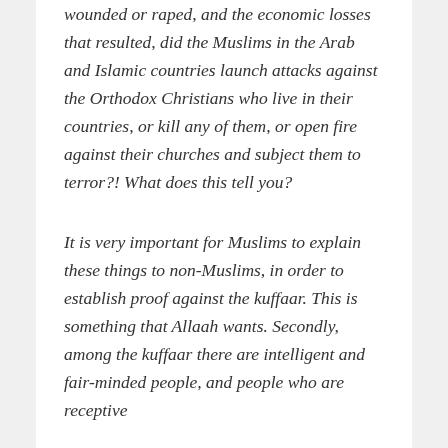wounded or raped, and the economic losses that resulted, did the Muslims in the Arab and Islamic countries launch attacks against the Orthodox Christians who live in their countries, or kill any of them, or open fire against their churches and subject them to terror?! What does this tell you?
It is very important for Muslims to explain these things to non-Muslims, in order to establish proof against the kuffaar. This is something that Allaah wants. Secondly, among the kuffaar there are intelligent and fair-minded people, and people who are receptive